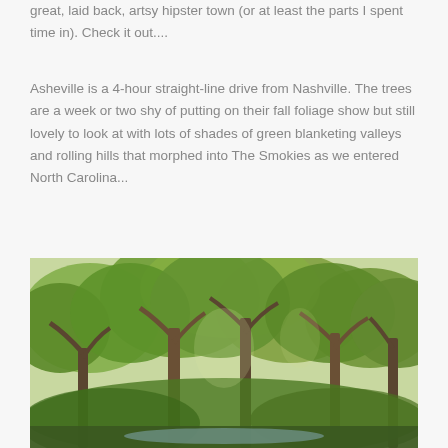great, laid back, artsy hipster town (or at least the parts I spent time in).  Check it out....
Asheville is a 4-hour straight-line drive from Nashville. The trees are a week or two shy of putting on their fall foliage show but still lovely to look at with lots of shades of green blanketing valleys and rolling hills that morphed into The Smokies as we entered North Carolina...
[Figure (photo): A lush green forest scene with tall deciduous trees, green foliage canopy, and a creek or path visible at the bottom. The scene appears to be in early fall with trees still mostly green.]